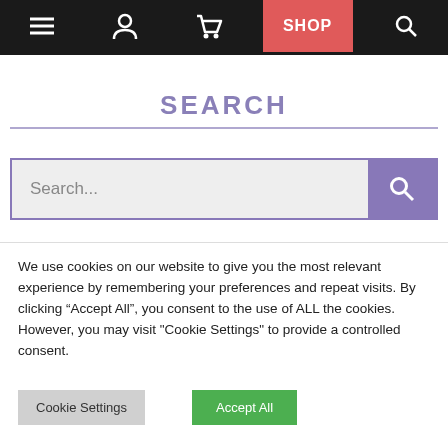Navigation bar with menu, user, cart, SHOP, search icons
SEARCH
[Figure (screenshot): Search input box with placeholder 'Search...' and a purple search button with magnifying glass icon]
We use cookies on our website to give you the most relevant experience by remembering your preferences and repeat visits. By clicking “Accept All”, you consent to the use of ALL the cookies. However, you may visit "Cookie Settings" to provide a controlled consent.
Cookie Settings
Accept All